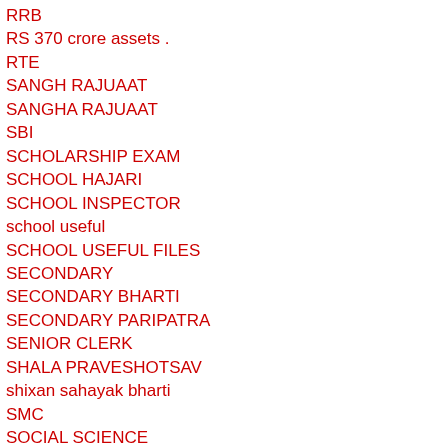RRB
RS 370 crore assets .
RTE
SANGH RAJUAAT
SANGHA RAJUAAT
SBI
SCHOLARSHIP EXAM
SCHOOL HAJARI
SCHOOL INSPECTOR
school useful
SCHOOL USEFUL FILES
SECONDARY
SECONDARY BHARTI
SECONDARY PARIPATRA
SENIOR CLERK
SHALA PRAVESHOTSAV
shixan sahayak bharti
SMC
SOCIAL SCIENCE